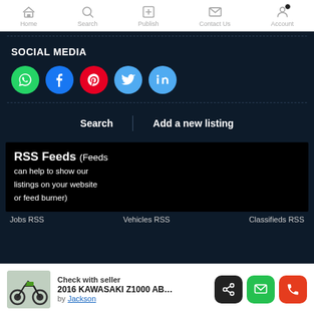Home | Search | Publish | Contact Us | Account
SOCIAL MEDIA
[Figure (other): Social media share buttons: WhatsApp (green), Facebook (blue), Pinterest (red), Twitter (light blue), LinkedIn (light blue)]
Search | Add a new listing
RSS Feeds (Feeds can help to show our listings on your website or feed burner)
Jobs RSS | Vehicles RSS | Classifieds RSS
Check with seller
2016 KAWASAKI Z1000 AB…
by Jackson